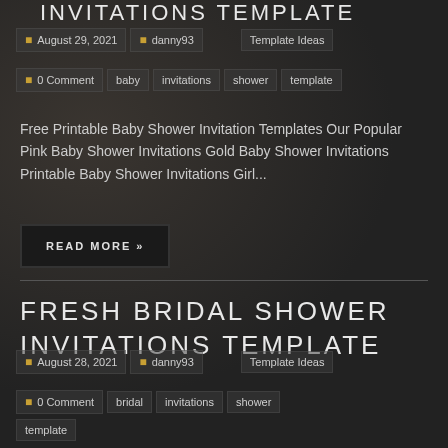INVITATIONS TEMPLATE
August 29, 2021   danny93   Template Ideas
0 Comment   baby   invitations   shower   template
Free Printable Baby Shower Invitation Templates Our Popular Pink Baby Shower Invitations Gold Baby Shower Invitations Printable Baby Shower Invitations Girl...
READ MORE »
FRESH BRIDAL SHOWER INVITATIONS TEMPLATE
August 28, 2021   danny93   Template Ideas
0 Comment   bridal   invitations   shower   template
Eucalyptus Bridal Shower Invitation Template